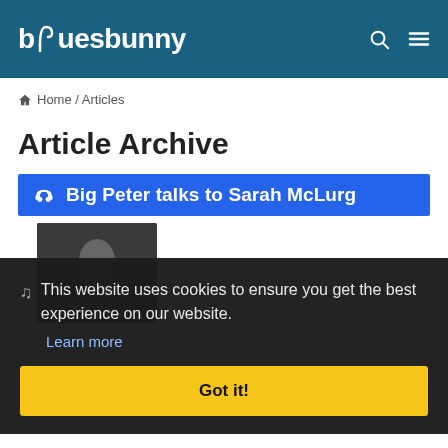bluesbunny
Home / Articles
Article Archive
Big Peter talks to Sarah McLurg
This website uses cookies to ensure you get the best experience on our website.
Learn more
Got it!